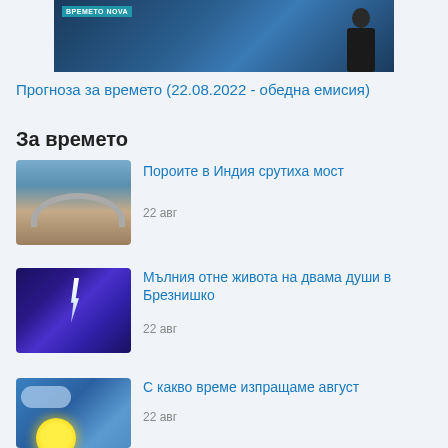[Figure (screenshot): Weather forecast TV broadcast screenshot with 'ВРЕМЕТО NOVA' badge and presenter figure on dark blue background]
Прогноза за времето (22.08.2022 - обедна емисия)
За времето
[Figure (photo): Flooded collapsed bridge arch in floodwater]
Пороите в Индия срутиха мост
22 авг
[Figure (photo): Lightning strike at night with purple sky]
Мълния отне живота на двама души в Брезнишко
22 авг
[Figure (photo): Weather scene with yellow element and blue sky]
С какво време изпращаме август
22 авг